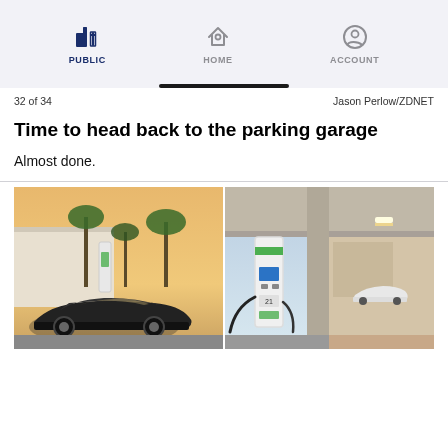PUBLIC | HOME | ACCOUNT
32 of 34    Jason Perlow/ZDNET
Time to head back to the parking garage
Almost done.
[Figure (photo): Two photos side by side: left shows a dark electric car (Fisker or similar EV) parked at an outdoor EV charging station with palm trees and a white building in background at sunset; right shows EV charging equipment under a parking garage overhang with green-accented chargers and another white car in background.]